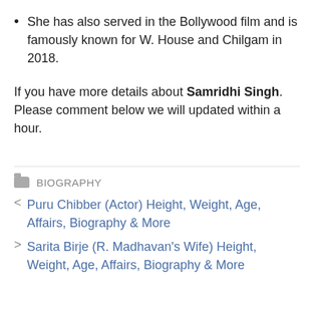She has also served in the Bollywood film and is famously known for W. House and Chilgam in 2018.
If you have more details about Samridhi Singh. Please comment below we will updated within a hour.
BIOGRAPHY
< Puru Chibber (Actor) Height, Weight, Age, Affairs, Biography & More
> Sarita Birje (R. Madhavan's Wife) Height, Weight, Age, Affairs, Biography & More